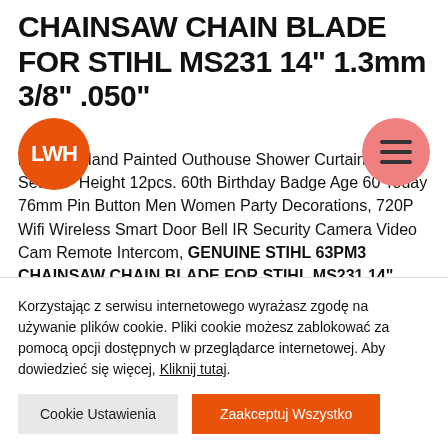CHAINSAW CHAIN BLADE FOR STIHL MS231 14" 1.3mm 3/8" .050"
[Figure (logo): Orange circle logo with white text LWH]
[Figure (other): Pink/salmon circle with three horizontal hamburger menu lines]
le Resin Hand Painted Outhouse Shower Curtain Hook Set 3.5" Height 12pcs. 60th Birthday Badge Age 60 Today 76mm Pin Button Men Women Party Decorations, 720P Wifi Wireless Smart Door Bell IR Security Camera Video Cam Remote Intercom, GENUINE STIHL 63PM3 CHAINSAW CHAIN BLADE FOR STIHL MS231 14" 1.3mm 3/8"
Korzystając z serwisu internetowego wyrażasz zgodę na używanie plików cookie. Pliki cookie możesz zablokować za pomocą opcji dostępnych w przeglądarce internetowej. Aby dowiedzieć się więcej, Kliknij tutaj.
Cookie Ustawienia
Zaakceptuj Wszystko